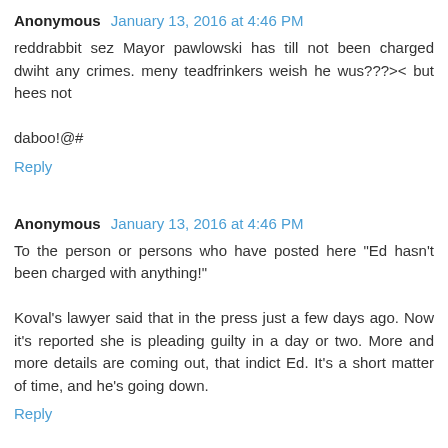Anonymous  January 13, 2016 at 4:46 PM
reddrabbit sez Mayor pawlowski has till not been charged dwiht any crimes. meny teadfrinkers weish he wus???><  but hees not

daboo!@#
Reply
Anonymous  January 13, 2016 at 4:46 PM
To the person or persons who have posted here "Ed hasn't been charged with anything!"

Koval's lawyer said that in the press just a few days ago. Now it's reported she is pleading guilty in a day or two. More and more details are coming out, that indict Ed. It's a short matter of time, and he's going down.
Reply